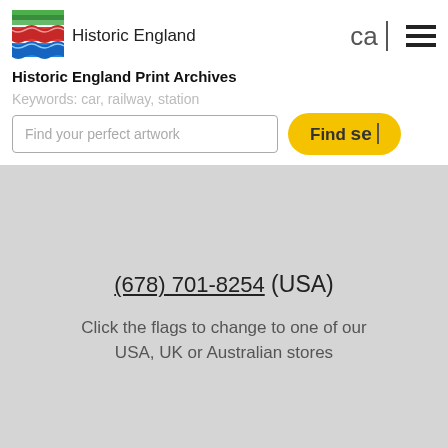Historic England Print Archives
Keywords: car, railway, station
Find your perfect artwork
Find sea
(678) 701-8254 (USA)
Click the flags to change to one of our USA, UK or Australian stores